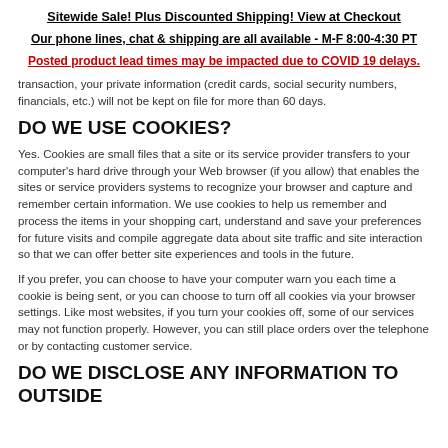Sitewide Sale! Plus Discounted Shipping! View at Checkout
Our phone lines, chat & shipping are all available - M-F 8:00-4:30 PT
Posted product lead times may be impacted due to COVID 19 delays.
transaction, your private information (credit cards, social security numbers, financials, etc.) will not be kept on file for more than 60 days.
DO WE USE COOKIES?
Yes. Cookies are small files that a site or its service provider transfers to your computer's hard drive through your Web browser (if you allow) that enables the sites or service providers systems to recognize your browser and capture and remember certain information. We use cookies to help us remember and process the items in your shopping cart, understand and save your preferences for future visits and compile aggregate data about site traffic and site interaction so that we can offer better site experiences and tools in the future.
If you prefer, you can choose to have your computer warn you each time a cookie is being sent, or you can choose to turn off all cookies via your browser settings. Like most websites, if you turn your cookies off, some of our services may not function properly. However, you can still place orders over the telephone or by contacting customer service.
DO WE DISCLOSE ANY INFORMATION TO OUTSIDE